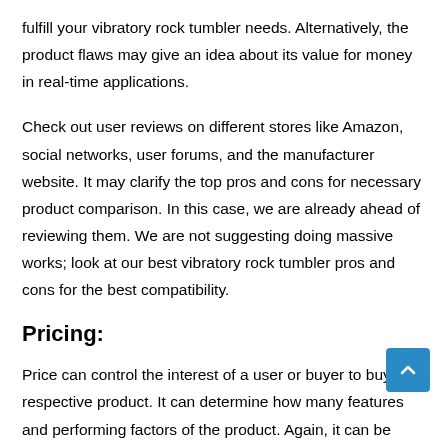fulfill your vibratory rock tumbler needs. Alternatively, the product flaws may give an idea about its value for money in real-time applications.
Check out user reviews on different stores like Amazon, social networks, user forums, and the manufacturer website. It may clarify the top pros and cons for necessary product comparison. In this case, we are already ahead of reviewing them. We are not suggesting doing massive works; look at our best vibratory rock tumbler pros and cons for the best compatibility.
Pricing:
Price can control the interest of a user or buyer to buy the respective product. It can determine how many features and performing factors of the product. Again, it can be changeable depending on multiple facts like brand value, topmost features, how they function, and life expectancy. Remember that you should